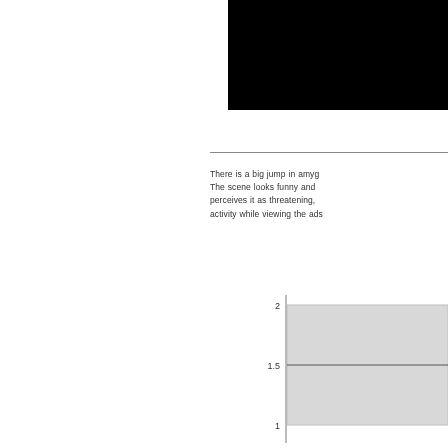[Figure (photo): Black rectangular image/photo in upper right area of the page, partially cut off]
There is a big jump in amyg... The scene looks funny and perceives it as threatening, activity while viewing the ads...
[Figure (bar-chart): Partial bar chart visible in lower right, y-axis shows values 1, 1.5, 2, bars cut off on right edge]